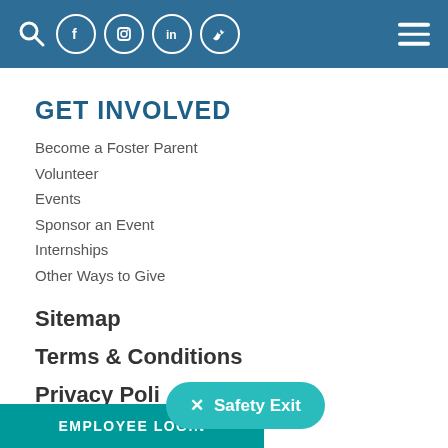Navigation header with search, social icons (Facebook, Instagram, LinkedIn, Twitter), and hamburger menu
GET INVOLVED
Become a Foster Parent
Volunteer
Events
Sponsor an Event
Internships
Other Ways to Give
Sitemap
Terms & Conditions
Privacy Policy
✕  Safety Exit
EMPLOYEE LOGIN